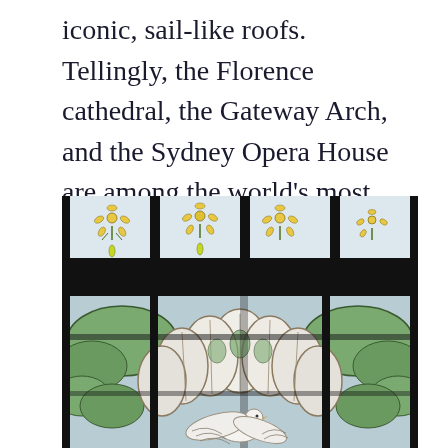iconic, sail-like roofs. Tellingly, the Florence cathedral, the Gateway Arch, and the Sydney Opera House are among the world's most recognizable structures.
[Figure (photo): Close-up photograph of a stained glass window featuring a white dove at the center bottom, surrounded by large white lotus or lily flower petals with green leaves, and small yellow flowers along the top edge. The window has dark lead came dividing the panels.]